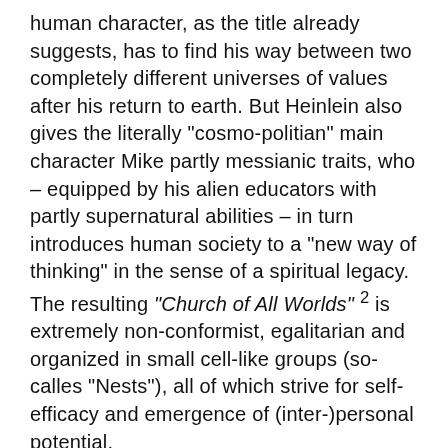human character, as the title already suggests, has to find his way between two completely different universes of values after his return to earth. But Heinlein also gives the literally "cosmo-politian" main character Mike partly messianic traits, who – equipped by his alien educators with partly supernatural abilities – in turn introduces human society to a "new way of thinking" in the sense of a spiritual legacy. The resulting "Church of All Worlds" ² is extremely non-conformist, egalitarian and organized in small cell-like groups (so-calles "Nests"), all of which strive for self-efficacy and emergence of (inter-)personal potential.
Although Heinlein succeeded in "Strangers in a Strange Land" by cleverly questioning "acquired" social structures such as family, religion, gender roles or even sexual morals, his work remained in some other parts rather reactionary (e.g. stereotypical view of women).
Heinlein, who thus recognised that as an author he too